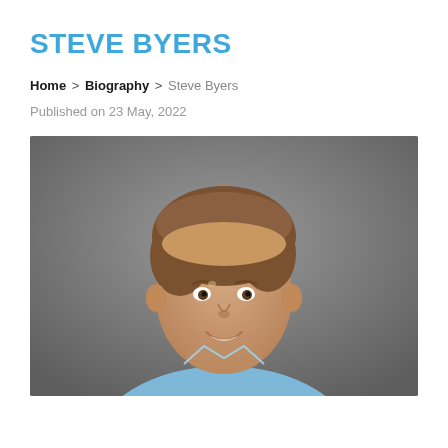STEVE BYERS
Home > Biography > Steve Byers
Published on 23 May, 2022
[Figure (photo): Headshot photo of Steve Byers, a man with light brown hair, smiling, wearing a light blue shirt, against a gray background.]